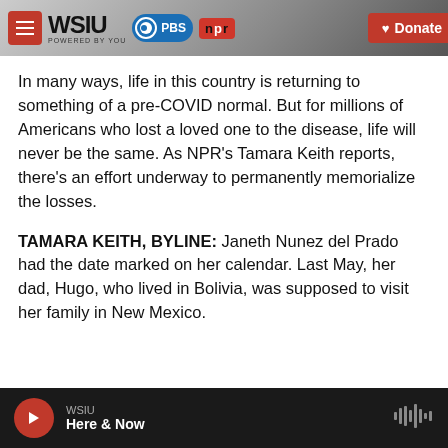WSIU | POWERED BY YOU | PBS | npr | Donate
In many ways, life in this country is returning to something of a pre-COVID normal. But for millions of Americans who lost a loved one to the disease, life will never be the same. As NPR's Tamara Keith reports, there's an effort underway to permanently memorialize the losses.
TAMARA KEITH, BYLINE: Janeth Nunez del Prado had the date marked on her calendar. Last May, her dad, Hugo, who lived in Bolivia, was supposed to visit her family in New Mexico.
WSIU | Here & Now